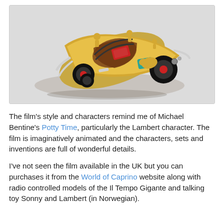[Figure (photo): A detailed model/toy of a fantastical gold vehicle (Il Tempo Gigante) viewed from above at an angle, showing intricate mechanical details, red wheels, gold bodywork, and small figurines, on a light grey background.]
The film's style and characters remind me of Michael Bentine's Potty Time, particularly the Lambert character. The film is imaginatively animated and the characters, sets and inventions are full of wonderful details.
I've not seen the film available in the UK but you can purchases it from the World of Caprino website along with radio controlled models of the Il Tempo Gigante and talking toy Sonny and Lambert (in Norwegian).